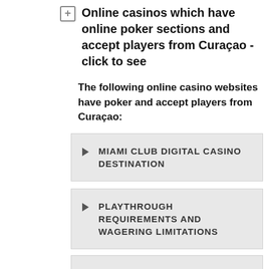Online casinos which have online poker sections and accept players from Curaçao - click to see
The following online casino websites have poker and accept players from Curaçao:
MIAMI CLUB DIGITAL CASINO DESTINATION
PLAYTHROUGH REQUIREMENTS AND WAGERING LIMITATIONS
BET ONLINE CASINO, BOOKMAKER & POKER
PLAYTHROUGH REQUIREMENTS